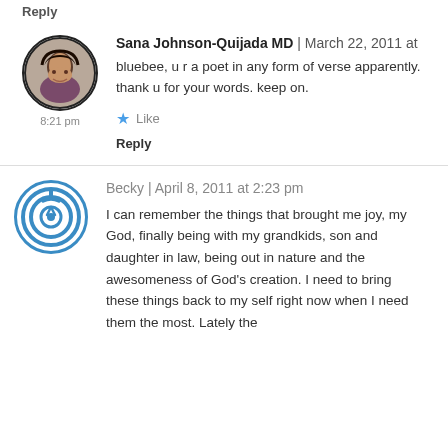Reply
Sana Johnson-Quijada MD | March 22, 2011 at 8:21 pm
bluebee, u r a poet in any form of verse apparently. thank u for your words. keep on.
Like
Reply
Becky | April 8, 2011 at 2:23 pm
I can remember the things that brought me joy, my God, finally being with my grandkids, son and daughter in law, being out in nature and the awesomeness of God's creation. I need to bring these things back to my self right now when I need them the most. Lately the